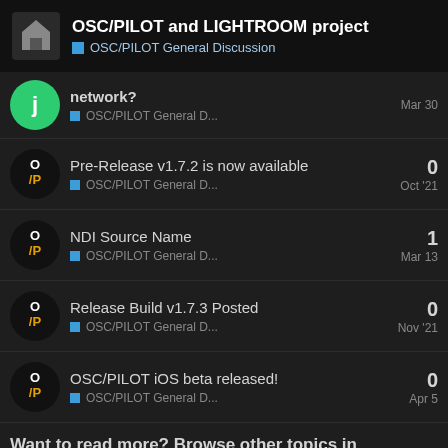OSC/PILOT and LIGHTROOM project — OSC/PILOT General Discussion
network? — OSC/PILOT General D... — Mar 30
Pre-Release v1.7.2 is now available — OSC/PILOT General D... — Oct '21 — 0 replies
NDI Source Name — OSC/PILOT General D... — Mar 13 — 1 reply
Release Build v1.7.3 Posted — OSC/PILOT General D... — Nov '21 — 0 replies
OSC/PILOT iOS beta released! — OSC/PILOT General D... — Apr 5 — 0 replies
Want to read more? Browse other topics in OSC/PILOT Gener... or view latest topics.